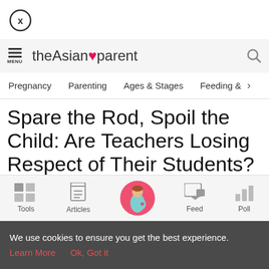[Figure (logo): Close button - circle with X]
theAsianparent
[Figure (logo): theAsianparent website logo with heart icon]
Pregnancy   Parenting   Ages & Stages   Feeding & >
Spare the Rod, Spoil the Child: Are Teachers Losing Respect of Their Students?
[Figure (other): Bottom navigation bar with Tools, Articles, Home (pregnant woman icon), Feed, Poll icons]
We use cookies to ensure you get the best experience.
Learn More   Ok, Got it